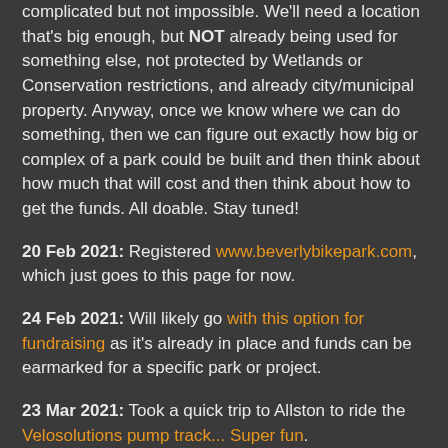complicated but not impossible. We'll need a location that's big enough, but NOT already being used for something else, not protected by Wetlands or Conservation restrictions, and already city/municipal property. Anyway, once we know where we can do something, then we can figure out exactly how big or complex of a park could be built and then think about how much that will cost and then think about how to get the funds. All doable. Stay tuned!
20 Feb 2021: Registered www.beverlybikepark.com, which just goes to this page for now.
24 Feb 2021: Will likely go with this option for fundraising as it's already in place and funds can be earmarked for a specific park or project.
23 Mar 2021: Took a quick trip to Allston to ride the Velosolutions pump track... Super fun.
25 Mar 2021: Had a productive discussion with representatives from similar efforts in the area including Marblehead, Topsfield and Wenham. It was good to hear of others...